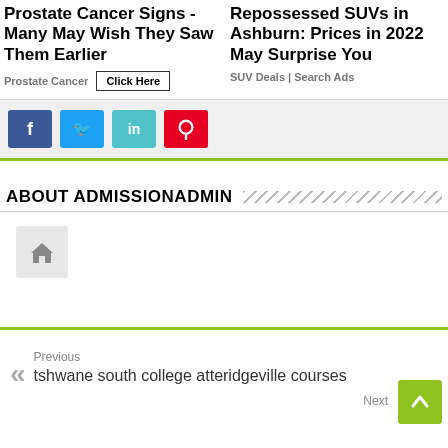Prostate Cancer Signs - Many May Wish They Saw Them Earlier
Prostate Cancer | Click Here
Repossessed SUVs in Ashburn: Prices in 2022 May Surprise You
SUV Deals | Search Ads
[Figure (infographic): Social media sharing buttons: Facebook (blue), Twitter (light blue), LinkedIn (teal), Pinterest (red)]
ABOUT ADMISSIONADMIN
[Figure (illustration): Home/house icon in a grey rounded square box]
Previous
tshwane south college atteridgeville courses
Next